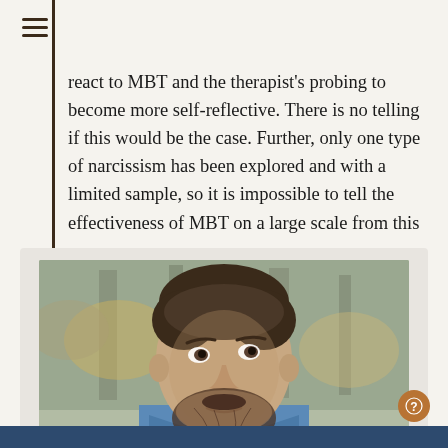react to MBT and the therapist's probing to become more self-reflective. There is no telling if this would be the case. Further, only one type of narcissism has been explored and with a limited sample, so it is impossible to tell the effectiveness of MBT on a large scale from this paper.
[Figure (photo): Portrait photograph of a young bearded man looking upward, outdoors in a forest setting with blurred trees and autumn foliage in the background. He is wearing a blue shirt.]
This paper is based on a single case-study and is somewhat speculative in nature; it is therefore difficult to ascertain the direct effectiveness of mentalisation-based treatment on pathological narcissism.